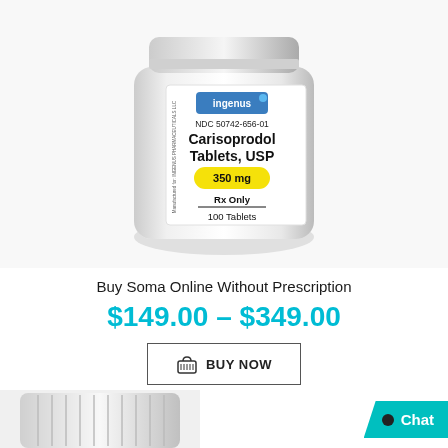[Figure (photo): White pill bottle labeled 'Carisoprodol Tablets, USP 350mg' by Ingenus, NDC 50742-656-01, Rx Only, 100 Tablets]
Buy Soma Online Without Prescription
$149.00 – $349.00
BUY NOW
[Figure (photo): Partial view of another pill bottle at the bottom]
Chat